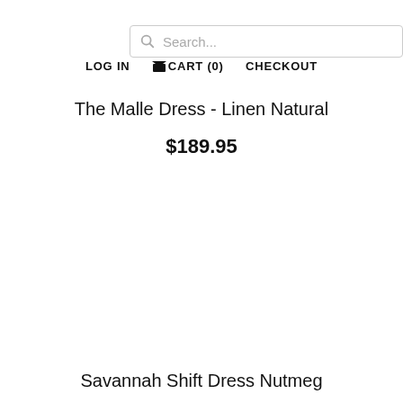[Figure (screenshot): Search bar input with magnifying glass icon and placeholder text 'Search...']
LOG IN  CART (0)  CHECKOUT
The Malle Dress - Linen Natural
$189.95
Savannah Shift Dress Nutmeg